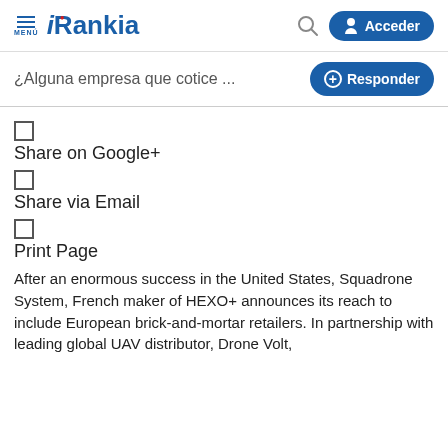Rankia — MENÚ | Search | Acceder
¿Alguna empresa que cotice ...
[Figure (other): Small square icon (Google+ share button)]
Share on Google+
[Figure (other): Small square icon (Email share button)]
Share via Email
[Figure (other): Small square icon (Print page button)]
Print Page
After an enormous success in the United States, Squadrone System, French maker of HEXO+ announces its reach to include European brick-and-mortar retailers. In partnership with leading global UAV distributor, Drone Volt,